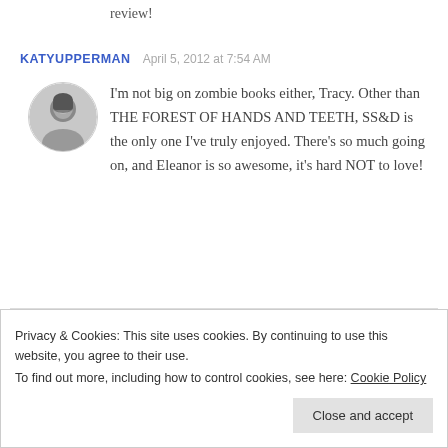review!
KATYUPPERMAN  April 5, 2012 at 7:54 AM
[Figure (photo): Black and white circular avatar photo of a woman with dark hair]
I'm not big on zombie books either, Tracy. Other than THE FOREST OF HANDS AND TEETH, SS&D is the only one I've truly enjoyed. There's so much going on, and Eleanor is so awesome, it's hard NOT to love!
SEE PRICING
Privacy & Cookies: This site uses cookies. By continuing to use this website, you agree to their use.
To find out more, including how to control cookies, see here: Cookie Policy
Close and accept